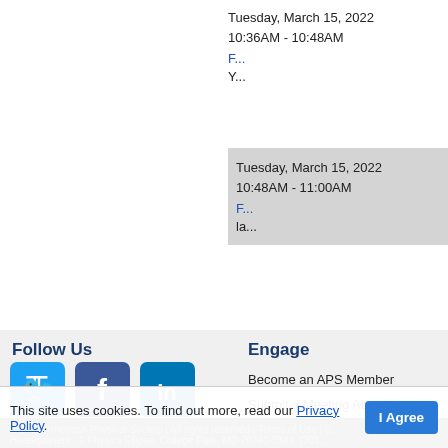Tuesday, March 15, 2022
10:36AM - 10:48AM
Tuesday, March 15, 2022
10:48AM - 11:00AM
Follow Us
[Figure (other): Social media icons: Twitter (blue), Facebook (dark blue), LinkedIn (dark blue), RSS (orange), Google+ (red-orange), YouTube (red)]
Engage
Become an APS Member
Submit a Meeting Abstract
Submit a Manuscript
Find a Journal Article
Donate to APS
This site uses cookies. To find out more, read our Privacy Policy.
© 2022 American Physical Society | All rights reserved | Terms of Use | C...
Headquarters   1 Physics Ellipse, College Park, MD 20740-3844   (301...
B...          1 Research Road, Ridge, NY 11961-2701   (631) 591...
C... Affairs   529 14th St NW, Suite 1050, Washington, D.C...